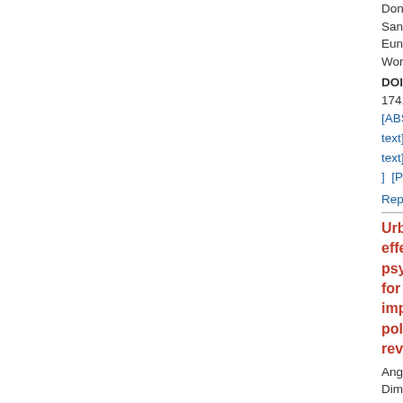Dong-Kee Kim, Yooyeon Pa, Sang-A Back, Hong Lim Kim, Eun Park, Kyoung-Ho Park, Won Yeo, Shi-Nae Park
DOI:10.4103/1463-1741.134915  PMID:249538
[ABSTRACT] [HTML Full text] [PDF] [Mobile Full text] [EPub] [Citations (2)] [PubMed] [Sword Plugin for Repository]Beta
Urban green space effectiveness as a psychological buffer for the negative health impact of noise pollution: A systematic review POPULAR
Angel Mario Dzhambov, Dor Dimitrova Dimitrova
DOI:10.4103/1463-1741.134916  PMID:249538
[ABSTRACT] [HTML Full text] [PDF] [Mobile Full text] [EPub] [Citations (66)]